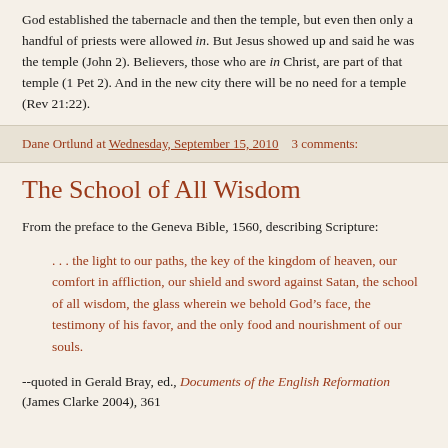God established the tabernacle and then the temple, but even then only a handful of priests were allowed in. But Jesus showed up and said he was the temple (John 2). Believers, those who are in Christ, are part of that temple (1 Pet 2). And in the new city there will be no need for a temple (Rev 21:22).
Dane Ortlund at Wednesday, September 15, 2010    3 comments:
The School of All Wisdom
From the preface to the Geneva Bible, 1560, describing Scripture:
. . . the light to our paths, the key of the kingdom of heaven, our comfort in affliction, our shield and sword against Satan, the school of all wisdom, the glass wherein we behold God’s face, the testimony of his favor, and the only food and nourishment of our souls.
--quoted in Gerald Bray, ed., Documents of the English Reformation (James Clarke 2004), 361